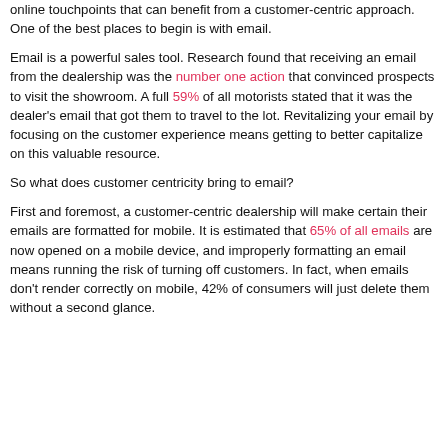online touchpoints that can benefit from a customer-centric approach. One of the best places to begin is with email.
Email is a powerful sales tool. Research found that receiving an email from the dealership was the number one action that convinced prospects to visit the showroom. A full 59% of all motorists stated that it was the dealer's email that got them to travel to the lot. Revitalizing your email by focusing on the customer experience means getting to better capitalize on this valuable resource.
So what does customer centricity bring to email?
First and foremost, a customer-centric dealership will make certain their emails are formatted for mobile. It is estimated that 65% of all emails are now opened on a mobile device, and improperly formatting an email means running the risk of turning off customers. In fact, when emails don't render correctly on mobile, 42% of consumers will just delete them without a second glance.